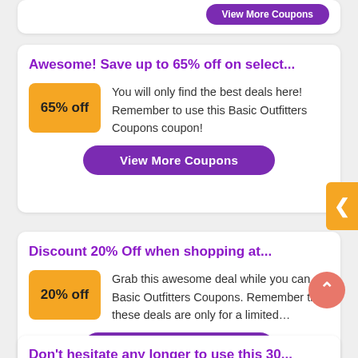[Figure (screenshot): Partial top coupon card with 'View More Coupons' button visible at top]
Awesome! Save up to 65% off on select...
You will only find the best deals here! Remember to use this Basic Outfitters Coupons coupon!
View More Coupons
Discount 20% Off when shopping at...
Grab this awesome deal while you can at Basic Outfitters Coupons. Remember that these deals are only for a limited...
View More Coupons
Don't hesitate any longer to use this 30...
Enjoy incredible discounts from Basic Outfitters Coupons...